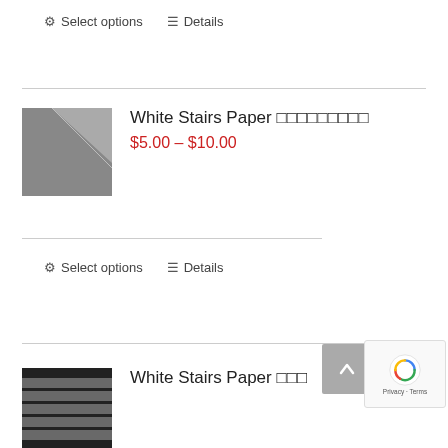⚙ Select options   ≡ Details
White Stairs Paper
$5.00 – $10.00
⚙ Select options   ≡ Details
White Stairs Paper